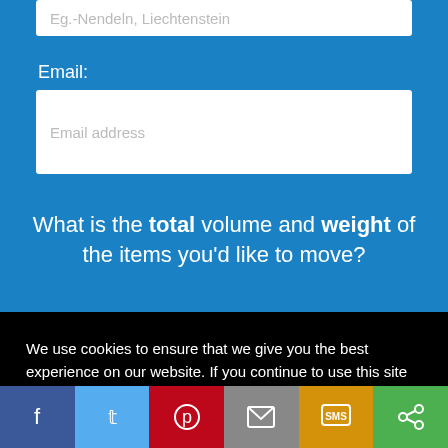Eg.-Nendeln, Liechtenstein
Email:
Email address
What is the total volume and weight of the items you'd like to move?
We use cookies to ensure that we give you the best experience on our website. If you continue to use this site we will assume that you are happy with it
Got it!
[Figure (screenshot): Social share bar with Facebook, Twitter, Pinterest, Email, SMS, and share icons]